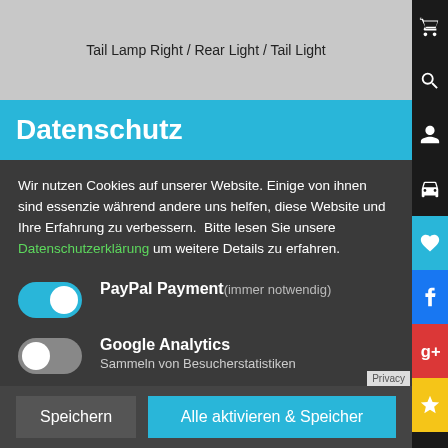Tail Lamp Right / Rear Light / Tail Light
Datenschutz
Wir nutzen Cookies auf unserer Website. Einige von ihnen sind essenzie während andere uns helfen, diese Website und Ihre Erfahrung zu verbessern. Bitte lesen Sie unsere Datenschutzerklärung um weitere Details zu erfahren.
PayPal Payment (immer notwendig)
Google Analytics
Sammeln von Besucherstatistiken
Externer Content
Externer Content wie z.B. YouTube – Videos
Speichern
Alle aktivieren & Speichern